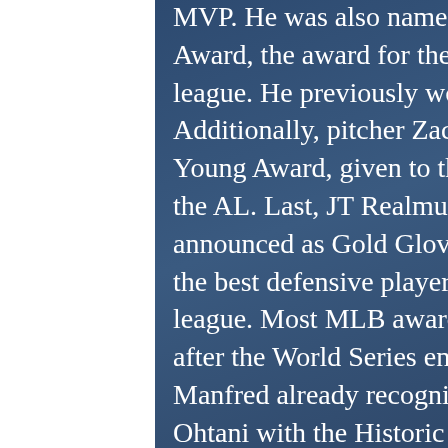MVP. He was also named a finalist for the Hank Aaron Award, the award for the best offensive player in the league. He previously won the award in 2015. Additionally, pitcher Zach Wheeler is eyeing the Cy Young Award, given to the best pitcher in the NL and the AL. Last, JT Realmuto and Zach Wheeler were announced as Gold Glove finalists, the award given to the best defensive player at each position in each league. Most MLB awards won't be announced until after the World Series ends, but Commissioner Rob Manfred already recognized Angels' pitcher Shohei Ohtani with the Historic Achievement Award. This honor is given to those who have profoundly impacted the sport, either